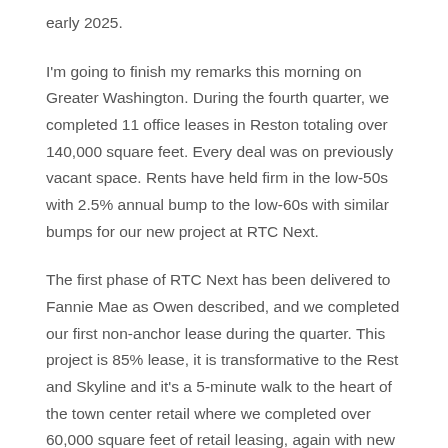early 2025.
I'm going to finish my remarks this morning on Greater Washington. During the fourth quarter, we completed 11 office leases in Reston totaling over 140,000 square feet. Every deal was on previously vacant space. Rents have held firm in the low-50s with 2.5% annual bump to the low-60s with similar bumps for our new project at RTC Next.
The first phase of RTC Next has been delivered to Fannie Mae as Owen described, and we completed our first non-anchor lease during the quarter. This project is 85% lease, it is transformative to the Rest and Skyline and it's a 5-minute walk to the heart of the town center retail where we completed over 60,000 square feet of retail leasing, again with new tenants on currently vacant space. In the district, we continue to chip away at our current availability with our JV assets with about 100,000 square feet of leasing. We've delivered 2100 Penn to our anchor tenant for their tenant